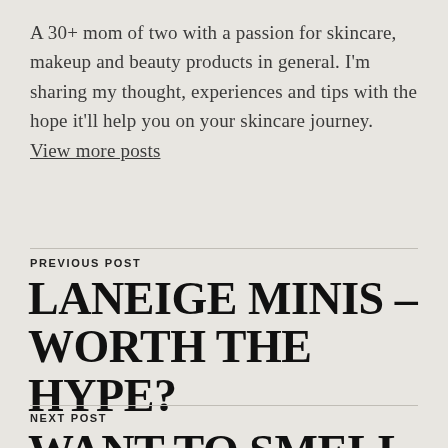A 30+ mom of two with a passion for skincare, makeup and beauty products in general. I'm sharing my thought, experiences and tips with the hope it'll help you on your skincare journey. View more posts
PREVIOUS POST
LANEIGE MINIS – WORTH THE HYPE?
NEXT POST
WANT TO SMELL